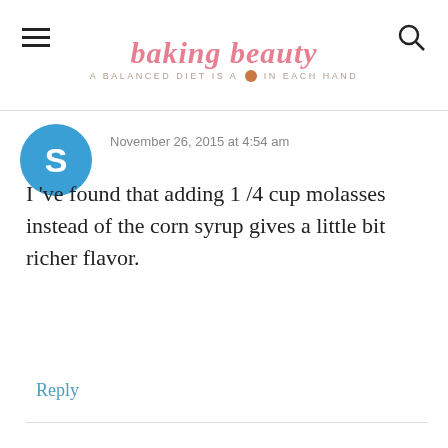baking beauty — A BALANCED DIET IS A 🍪 IN EACH HAND
November 26, 2015 at 4:54 am
I 've found that adding 1 /4 cup molasses instead of the corn syrup gives a little bit richer flavor.
Reply
admin says